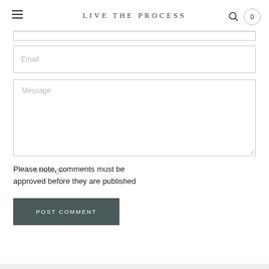LIVE THE PROCESS
Email
Message
Please note, comments must be approved before they are published
POST COMMENT